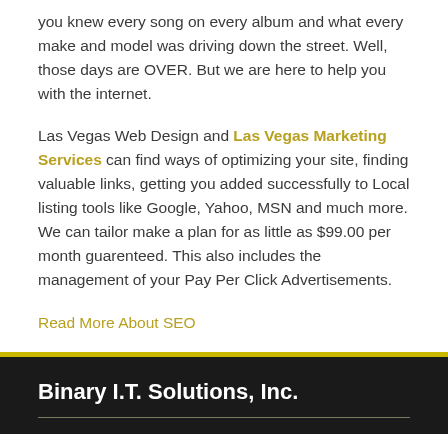you knew every song on every album and what every make and model was driving down the street. Well, those days are OVER. But we are here to help you with the internet.
Las Vegas Web Design and Las Vegas Marketing Services can find ways of optimizing your site, finding valuable links, getting you added successfully to Local listing tools like Google, Yahoo, MSN and much more. We can tailor make a plan for as little as $99.00 per month guarenteed. This also includes the management of your Pay Per Click Advertisements.
Read More About SEO
Binary I.T. Solutions, Inc.